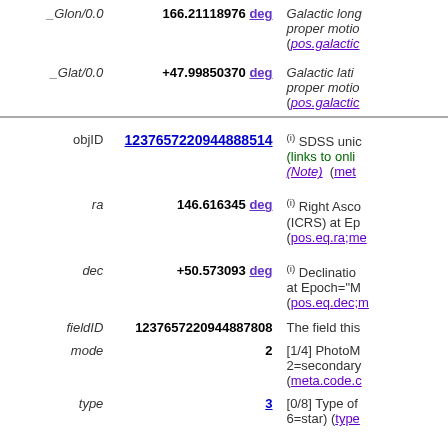| Name | Value | Description |
| --- | --- | --- |
| _Glon/0.0 | 166.21118976 deg | Galactic longitude with proper motion correction (pos.galactic.lon;pos.pm...) |
| _Glat/0.0 | +47.99850370 deg | Galactic latitude with proper motion correction (pos.galactic.lat;pos.pm...) |
| objID | 1237657220944888514 | SDSS unique object identifier (links to online data) (Note) (meta...) |
| ra | 146.616345 deg | (i) Right Ascension (ICRS) at Epoch=... (pos.eq.ra;me...) |
| dec | +50.573093 deg | (i) Declination at Epoch="M... (pos.eq.dec;m...) |
| fieldID | 1237657220944887808 | The field this... |
| mode | 2 | [1/4] PhotoM... 2=secondary (meta.code.c...) |
| type | 3 | [0/8] Type of... 6=star) (type...) |